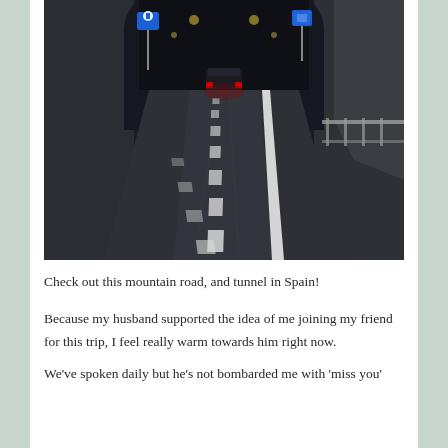[Figure (photo): Photo of a mountain highway road at dusk with a truck ahead whose brake lights glow red, approaching a tunnel opening with blue road signs on the sides. Dashed white lane markings are visible on the dark asphalt, with mountainous terrain and guardrails on the right side.]
Check out this mountain road, and tunnel in Spain!
Because my husband supported the idea of me joining my friend for this trip, I feel really warm towards him right now.
We've spoken daily but he's not bombarded me with 'miss you'